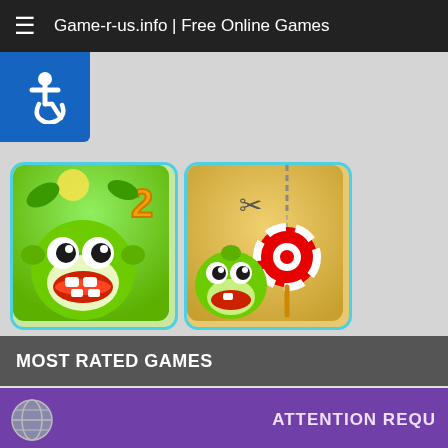Game-r-us.info | Free Online Games
[Figure (screenshot): Accessibility icon (wheelchair symbol) on blue background]
[Figure (illustration): Cut the Rope 2 game thumbnail - green monster Om Nom with number 2]
[Figure (illustration): Cut the Rope game thumbnail - Om Nom with scissors and candy lollipop]
MOST RATED GAMES
ATTENTION REQU
This website uses Cookies. By continuing to use our site, you consent to the use of cookies.
Accept
Privacy Center